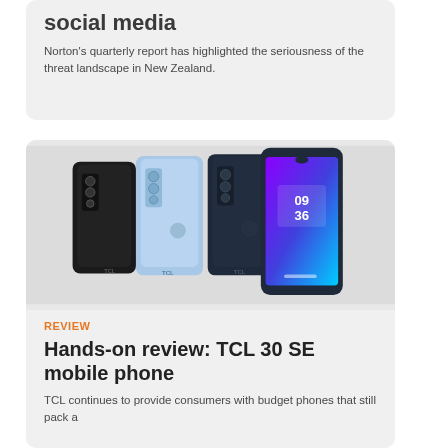social media
Norton's quarterly report has highlighted the seriousness of the threat landscape in New Zealand.
[Figure (photo): Three TCL 30 SE smartphones shown from back and front, in black, light blue, and dark blue/navy colors, displaying the phone's design including triple camera setup on the back and a colorful purple/blue gradient homescreen on the front.]
REVIEW
Hands-on review: TCL 30 SE mobile phone
TCL continues to provide consumers with budget phones that still pack a